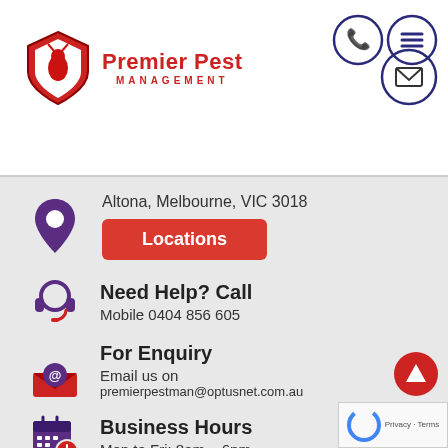[Figure (logo): Premier Pest Management logo with red shield and text]
[Figure (infographic): Navigation icons: phone, menu, and email circles in top right]
[Figure (infographic): Purple map pin icon with address: Altona, Melbourne, VIC 3018 and red Locations button]
[Figure (infographic): Headset icon - Need Help? Call section]
Need Help? Call
Mobile 0404 856 605
[Figure (infographic): Email envelope icon - For Enquiry section]
For Enquiry
Email us on
premierpestman@optusnet.com.au
[Figure (infographic): Calendar with clock icon - Business Hours section]
Business Hours
Mon to Fri: 8am – 6pm